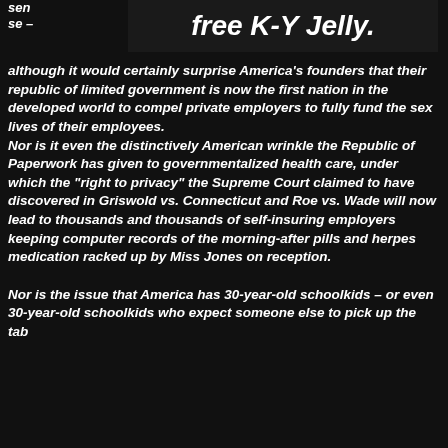[Figure (other): Banner with bold italic text reading 'free K-Y Jelly.' on dark background]
sen se –
although it would certainly surprise America's founders that their republic of limited government is now the first nation in the developed world to compel private employers to fully fund the sex lives of their employees.
Nor is it even the distinctively American wrinkle the Republic of Paperwork has given to governmentalized health care, under which the "right to privacy" the Supreme Court claimed to have discovered in Griswold vs. Connecticut and Roe vs. Wade will now lead to thousands and thousands of self-insuring employers keeping computer records of the morning-after pills and herpes medication racked up by Miss Jones on reception.

Nor is the issue that America has 30-year-old schoolkids – or even 30-year-old schoolkids who expect someone else to pick up the tab